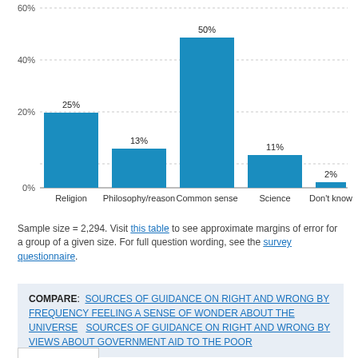[Figure (bar-chart): ]
Sample size = 2,294. Visit this table to see approximate margins of error for a group of a given size. For full question wording, see the survey questionnaire.
COMPARE: SOURCES OF GUIDANCE ON RIGHT AND WRONG BY FREQUENCY FEELING A SENSE OF WONDER ABOUT THE UNIVERSE   SOURCES OF GUIDANCE ON RIGHT AND WRONG BY VIEWS ABOUT GOVERNMENT AID TO THE POOR